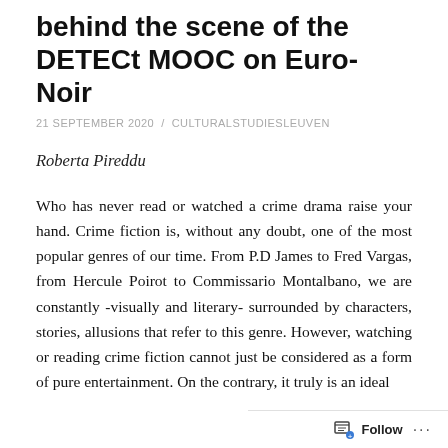behind the scene of the DETECt MOOC on Euro-Noir
21 SEPTEMBER 2020 / CULTURALSTUDIESLEUVEN
Roberta Pireddu
Who has never read or watched a crime drama raise your hand. Crime fiction is, without any doubt, one of the most popular genres of our time. From P.D James to Fred Vargas, from Hercule Poirot to Commissario Montalbano, we are constantly -visually and literary- surrounded by characters, stories, allusions that refer to this genre. However, watching or reading crime fiction cannot just be considered as a form of pure entertainment. On the contrary, it truly is an ideal